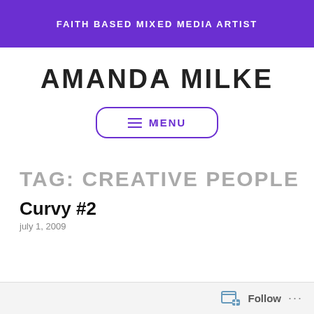FAITH BASED MIXED MEDIA ARTIST
AMANDA MILKE
[Figure (other): Menu button with hamburger icon and text MENU, purple rounded rectangle border]
TAG: CREATIVE PEOPLE
Curvy #2
july 1, 2009
Follow